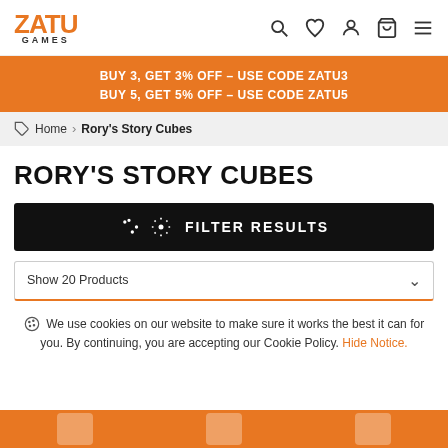ZATU GAMES
BUY 3, GET 3% OFF - USE CODE ZATU3
BUY 5, GET 5% OFF - USE CODE ZATU5
Home > Rory's Story Cubes
RORY'S STORY CUBES
FILTER RESULTS
Show 20 Products
We use cookies on our website to make sure it works the best it can for you. By continuing, you are accepting our Cookie Policy. Hide Notice.